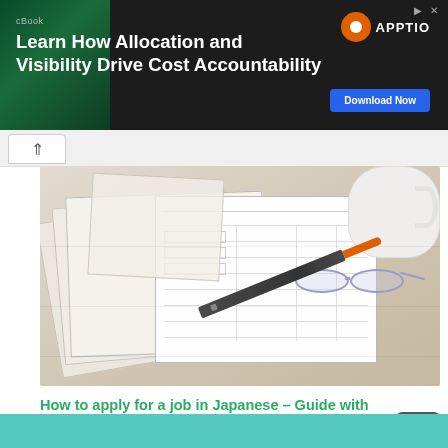[Figure (other): Advertisement banner for Apptio eBook: 'Learn How Allocation and Visibility Drive Cost Accountability' with Download Now button on dark background with green decorative element]
[Figure (photo): Overhead photo of a desk with Japanese job application forms, glasses, a pen with orange tip, and a white mug on a wooden surface]
How to apply for a job in Japanese – Guide with Example
22 3ロ 2021 – Application Documents, Basics, Job Se…